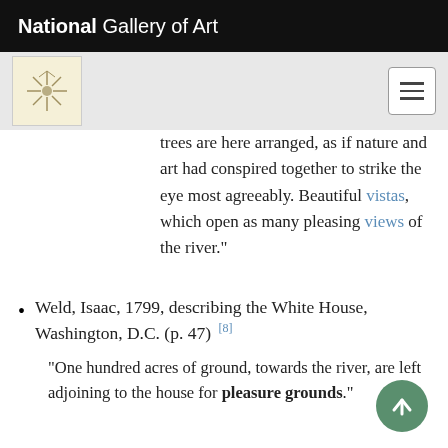National Gallery of Art
trees are here arranged, as if nature and art had conspired together to strike the eye most agreeably. Beautiful vistas, which open as many pleasing views of the river."
Weld, Isaac, 1799, describing the White House, Washington, D.C. (p. 47) [8]
"One hundred acres of ground, towards the river, are left adjoining to the house for pleasure grounds."